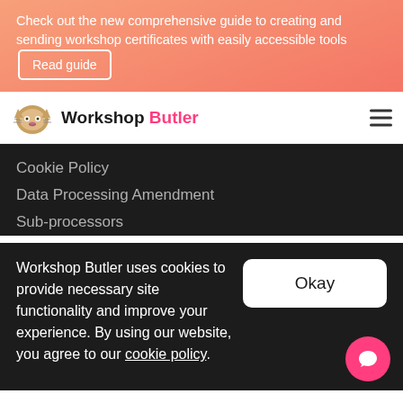Check out the new comprehensive guide to creating and sending workshop certificates with easily accessible tools  Read guide
Workshop Butler
Cookie Policy
Data Processing Amendment
Sub-processors
Workshop Butler uses cookies to provide necessary site functionality and improve your experience. By using our website, you agree to our cookie policy.